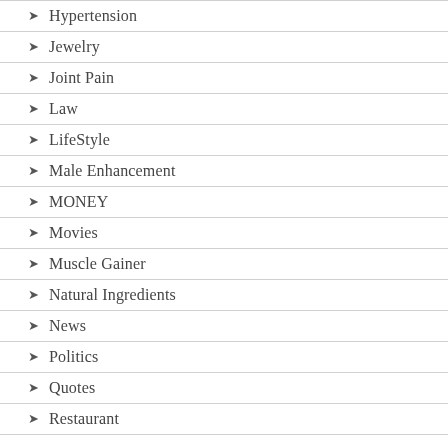Hypertension
Jewelry
Joint Pain
Law
LifeStyle
Male Enhancement
MONEY
Movies
Muscle Gainer
Natural Ingredients
News
Politics
Quotes
Restaurant